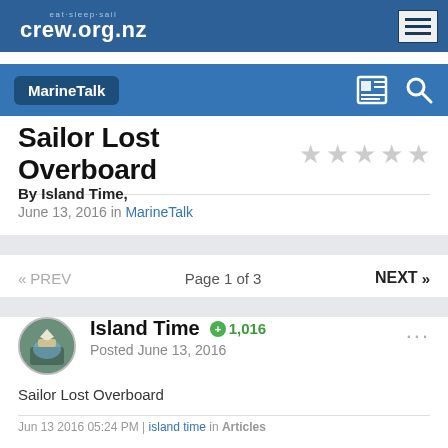eat·sleep·sail crew.org.nz
MarineTalk
Sailor Lost Overboard
By Island Time, June 13, 2016 in MarineTalk
« PREV   Page 1 of 3   NEXT »
Island Time  +1,016  Posted June 13, 2016
Sailor Lost Overboard
Jun 13 2016 05:24 PM | island time in Articles